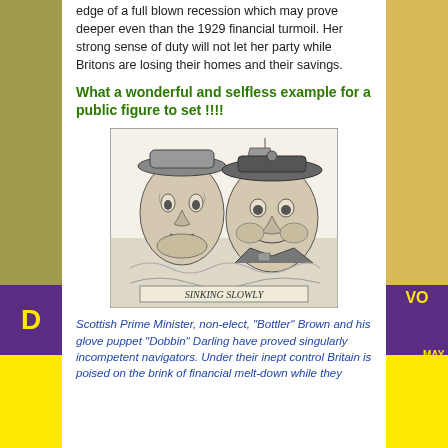edge of a full blown recession which may prove deeper even than the 1929 financial turmoil. Her strong sense of duty will not let her party while Britons are losing their homes and their savings.
What a wonderful and selfless example for a public figure to set !!!!
[Figure (illustration): Political cartoon titled 'SINKING SLOWLY' showing caricatures of two political figures in a sinking ship scene]
Scottish Prime Minister, non-elect, "Bottler" Brown and his glove puppet "Dobbin" Darling have proved singularly incompetent navigators. Under their inept control Britain is poised on the brink of financial melt-down while they